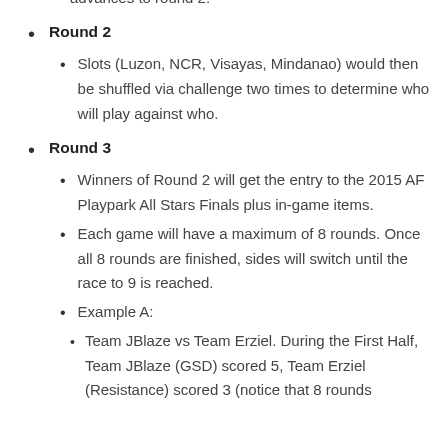teams remain, and the winner from those 2 teams advances to round 2.
Round 2
Slots (Luzon, NCR, Visayas, Mindanao) would then be shuffled via challenge two times to determine who will play against who.
Round 3
Winners of Round 2 will get the entry to the 2015 AF Playpark All Stars Finals plus in-game items.
Each game will have a maximum of 8 rounds. Once all 8 rounds are finished, sides will switch until the race to 9 is reached.
Example A:
Team JBlaze vs Team Erziel. During the First Half, Team JBlaze (GSD) scored 5, Team Erziel (Resistance) scored 3 (notice that 8 rounds